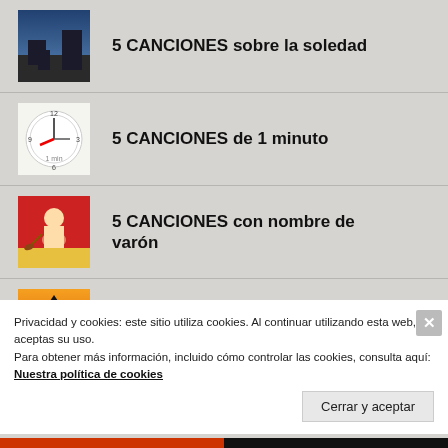5 CANCIONES sobre la soledad
5 CANCIONES de 1 minuto
5 CANCIONES con nombre de varón
5 CANCIONES esperanzadoras
Privacidad y cookies: este sitio utiliza cookies. Al continuar utilizando esta web, aceptas su uso.
Para obtener más información, incluido cómo controlar las cookies, consulta aquí: Nuestra política de cookies
Cerrar y aceptar